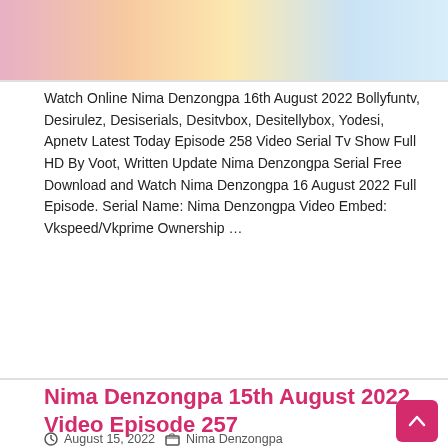[Figure (photo): Top portion of a TV show promotional image with colorful background (pink, orange, yellow, blue gradients)]
Watch Online Nima Denzongpa 16th August 2022 Bollyfuntv, Desirulez, Desiserials, Desitvbox, Desitellybox, Yodesi, Apnetv Latest Today Episode 258 Video Serial Tv Show Full HD By Voot, Written Update Nima Denzongpa Serial Free Download and Watch Nima Denzongpa 16 August 2022 Full Episode. Serial Name: Nima Denzongpa Video Embed: Vkspeed/Vkprime Ownership …
Read More »
Nima Denzongpa 15th August 2022 Video Episode 257
August 15, 2022   Nima Denzongpa
[Figure (photo): Bottom portion of a TV show promotional image showing women actors with green/yellow/pink background and Hindi text]